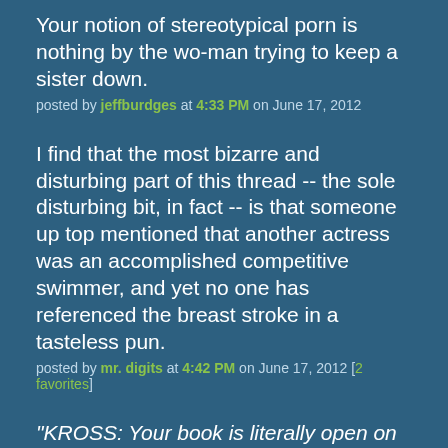Your notion of stereotypical porn is nothing by the wo-man trying to keep a sister down.
posted by jeffburdges at 4:33 PM on June 17, 2012
I find that the most bizarre and disturbing part of this thread -- the sole disturbing bit, in fact -- is that someone up top mentioned that another actress was an accomplished competitive swimmer, and yet no one has referenced the breast stroke in a tasteless pun.
posted by mr. digits at 4:42 PM on June 17, 2012 [2 favorites]
"KROSS: Your book is literally open on my lap right this moment. Is that awkward? It’s always awkward for me when people say the same about my work."
The wit, the charm, the self-depreciating humor. I was fine but got the impression of all of the attributes of such...